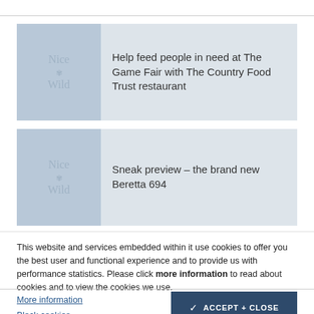[Figure (illustration): Article card with 'Nice Wild' logo thumbnail and title: Help feed people in need at The Game Fair with The Country Food Trust restaurant]
Help feed people in need at The Game Fair with The Country Food Trust restaurant
[Figure (illustration): Article card with branded logo thumbnail and title: Sneak preview – the brand new Beretta 694]
Sneak preview – the brand new Beretta 694
This website and services embedded within it use cookies to offer you the best user and functional experience and to provide us with performance statistics. Please click more information to read about cookies and to view the cookies we use.
More information
Block cookies